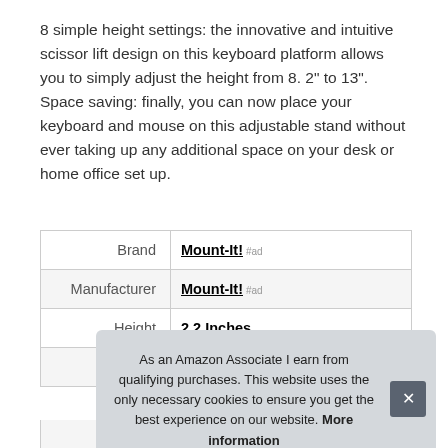8 simple height settings: the innovative and intuitive scissor lift design on this keyboard platform allows you to simply adjust the height from 8. 2" to 13". Space saving: finally, you can now place your keyboard and mouse on this adjustable stand without ever taking up any additional space on your desk or home office set up.
|  |  |
| --- | --- |
| Brand | Mount-It! #ad |
| Manufacturer | Mount-It! #ad |
| Height | 2.2 Inches |
| P |  |
| Model |  |
As an Amazon Associate I earn from qualifying purchases. This website uses the only necessary cookies to ensure you get the best experience on our website. More information